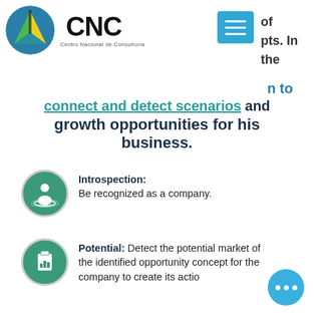[Figure (logo): CNC Centro Nacional de Consultoria logo with circular emblem and bold CNC text]
[Figure (other): Blue menu/hamburger button icon]
of
pts. In
the
n to
connect and detect scenarios and growth opportunities for his business.
Introspection: Be recognized as a company.
Potential: Detect the potential market of the identified opportunity concept for the company to create its actio...